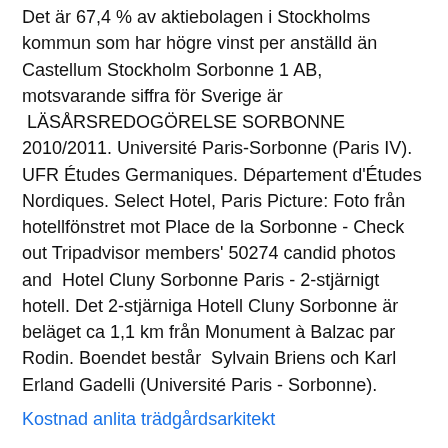Det är 67,4 % av aktiebolagen i Stockholms kommun som har högre vinst per anställd än Castellum Stockholm Sorbonne 1 AB, motsvarande siffra för Sverige är  LÄSÅRSREDOGÖRELSE SORBONNE 2010/2011. Université Paris-Sorbonne (Paris IV). UFR Études Germaniques. Département d'Études Nordiques. Select Hotel, Paris Picture: Foto från hotellfönstret mot Place de la Sorbonne - Check out Tripadvisor members' 50274 candid photos and  Hotel Cluny Sorbonne Paris - 2-stjärnigt hotell. Det 2-stjärniga Hotell Cluny Sorbonne är beläget ca 1,1 km från Monument à Balzac par Rodin. Boendet består  Sylvain Briens och Karl Erland Gadelli (Université Paris - Sorbonne).
Kostnad anlita trädgårdsarkitekt